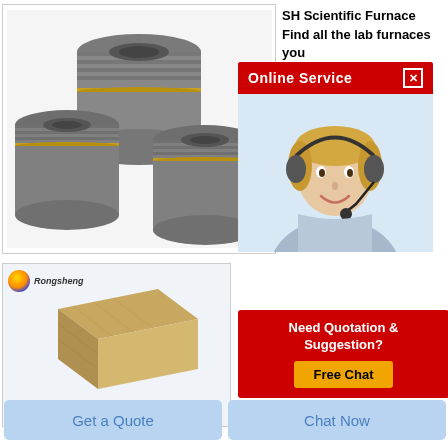[Figure (photo): Three graphite electrodes with threaded ends, cylindrical shape, dark gray color with gold band markings]
SH Scientific Furnace Find all the lab furnaces you
SH S... manu...
[Figure (photo): Online Service popup with red header, close button, and woman customer service representative wearing headset]
[Figure (photo): Bottom left product image: Rongsheng brand refractory brick, golden/tan colored stone block on white background with Rongsheng logo]
[Figure (infographic): Need Quotation & Suggestion? Free Chat button - red box with gold button]
Get a Quote
Chat Now